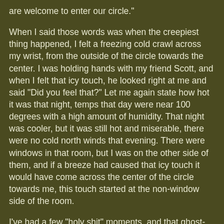are welcome to enter our circle."
When I said those words was when the creepiest thing happened, I felt a freezing cold crawl across my wrist, from the outside of the circle towards the center.  I was holding hands with my friend Scott, and when I felt that icy touch, he looked right at me and said "Did you feel that?"  Let me again state how hot it was that night, temps that day were near 100 degrees with a high amount of humidity.  That night was cooler, but it was still hot and miserable, there were no cold north winds that evening.  There were windows in that room, but I was on the other side of them, and if a breeze had caused that icy touch it would have come across the center of the circle towards me, this touch started at the non-window side of the room.
I've had a few "holy shit" moments, and that ghost-touch ranks as the biggest of them.  You will never convince me that sensation I felt came from anything but a ghost.  The fact that the person next to me also felt it, and in the same place, gives me even more faith in that conviction.  I was touched by a ghost, period**, and the experience was far